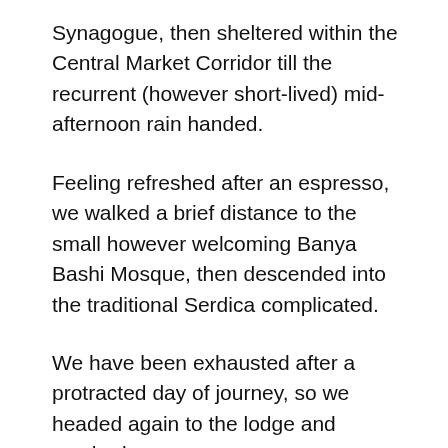Synagogue, then sheltered within the Central Market Corridor till the recurrent (however short-lived) mid-afternoon rain handed.
Feeling refreshed after an espresso, we walked a brief distance to the small however welcoming Banya Bashi Mosque, then descended into the traditional Serdica complicated.
We have been exhausted after a protracted day of journey, so we headed again to the lodge and crashed.
I had low expectations about Sofia as a metropolis, however after the strolling tour I completely beloved the place. This was a simple metropolis to navigate, and it was an attractive metropolis – regardless of its ugly, staunch and stolid communist-built surrounds. Sofia has a really common